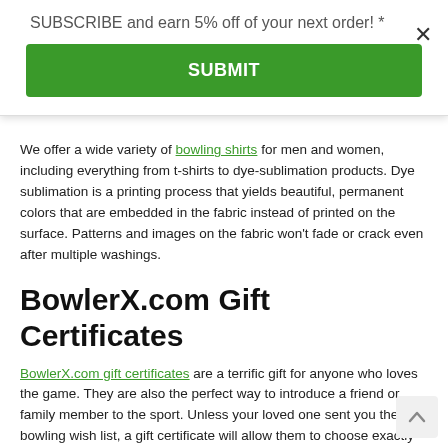SUBSCRIBE and earn 5% off of your next order! *
SUBMIT
We offer a wide variety of bowling shirts for men and women, including everything from t-shirts to dye-sublimation products. Dye sublimation is a printing process that yields beautiful, permanent colors that are embedded in the fabric instead of printed on the surface. Patterns and images on the fabric won't fade or crack even after multiple washings.
BowlerX.com Gift Certificates
BowlerX.com gift certificates are a terrific gift for anyone who loves the game. They are also the perfect way to introduce a friend or family member to the sport. Unless your loved one sent you their bowling wish list, a gift certificate will allow them to choose exactly what they want, when they want it.
Our gift certificates are available in denominations of $25, $50, $100, $150, $200 and $500, and can be redeemed directly on our website.